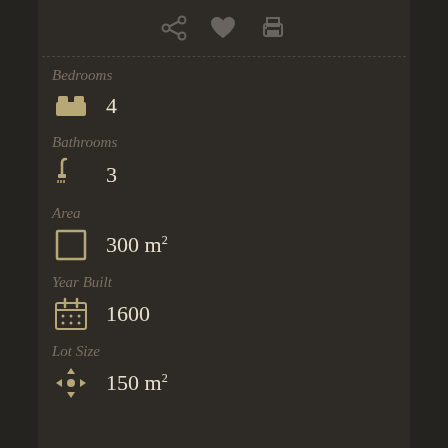[Figure (infographic): Top toolbar icons: share, heart/favorite, print]
Bedrooms
4
Bathrooms
3
Area
300 m²
Year Built
1600
Lot Size
150 m²